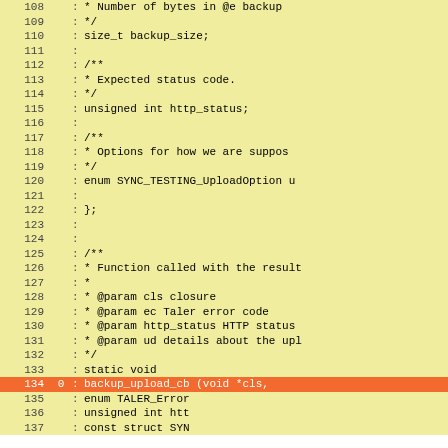[Figure (screenshot): Code coverage view showing C source file lines 108-137 with line numbers, coverage counts, colons, and code content. Line 134 is highlighted in orange indicating a coverage issue. Background is yellow for most lines.]